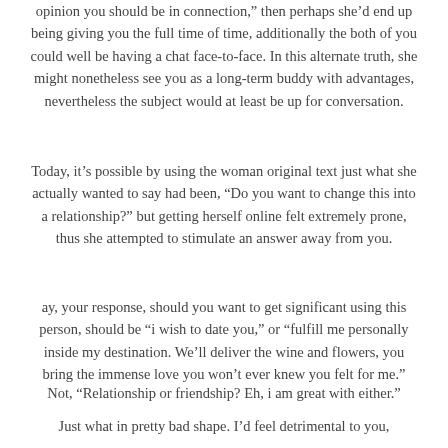opinion you should be in connection," then perhaps she'd end up being giving you the full time of time, additionally the both of you could well be having a chat face-to-face. In this alternate truth, she might nonetheless see you as a long-term buddy with advantages, nevertheless the subject would at least be up for conversation.
Today, it's possible by using the woman original text just what she actually wanted to say had been, “Do you want to change this into a relationship?” but getting herself online felt extremely prone, thus she attempted to stimulate an answer away from you.
[Figure (other): Translate Page Click Here button overlay box with blue border]
ay, your response, should you want to get significant using this person, should be “i wish to date you,” or “fulfill me personally inside my destination. We’ll deliver the wine and flowers, you bring the immense love you won’t ever knew you felt for me.”
Not, “Relationship or friendship? Eh, i am great with either.”
Just what in pretty bad shape. I’d feel detrimental to you,